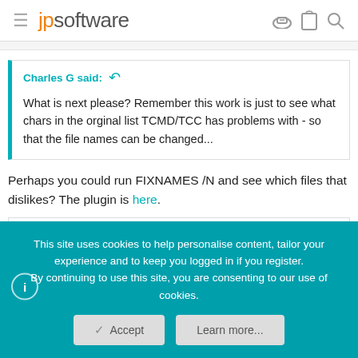jpsoftware
Charles G said: What is next please? Remember this work is just to see what chars in the orginal list TCMD/TCC has problems with - so that the file names can be changed...
Perhaps you could run FIXNAMES /N and see which files that dislikes? The plugin is here.
Charles G
This site uses cookies to help personalise content, tailor your experience and to keep you logged in if you register.
By continuing to use this site, you are consenting to our use of cookies.